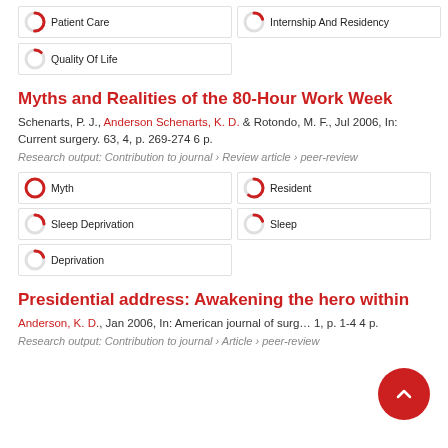Patient Care
Internship And Residency
Quality Of Life
Myths and Realities of the 80-Hour Work Week
Schenarts, P. J., Anderson Schenarts, K. D. & Rotondo, M. F., Jul 2006, In: Current surgery. 63, 4, p. 269-274 6 p.
Research output: Contribution to journal › Review article › peer-review
Myth
Resident
Sleep Deprivation
Sleep
Deprivation
Presidential address: Awakening the hero within
Anderson, K. D., Jan 2006, In: American journal of surgery. 1, p. 1-4 4 p.
Research output: Contribution to journal › Article › peer-review